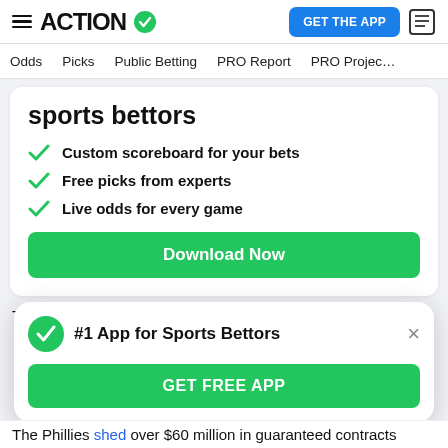ACTION [logo with checkmark] | GET THE APP [button] [news icon]
Odds   Picks   Public Betting   PRO Report   PRO Project
sports bettors
Custom scoreboard for your bets
Free picks from experts
Live odds for every game
Download Now
The 2020 season wasn't as bad as it seemed. The team
#1 App for Sports Bettors
GET FREE APP
The Phillies shed over $60 million in guaranteed contracts